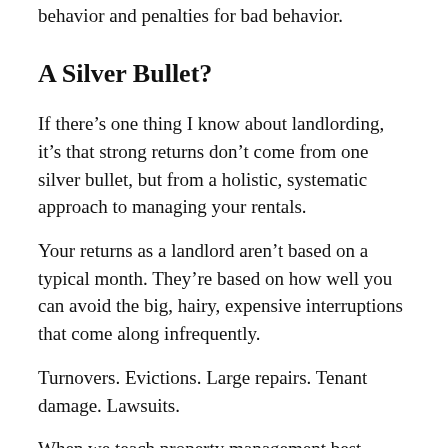behavior and penalties for bad behavior.
A Silver Bullet?
If there’s one thing I know about landlording, it’s that strong returns don’t come from one silver bullet, but from a holistic, systematic approach to managing your rentals.
Your returns as a landlord aren’t based on a typical month. They’re based on how well you can avoid the big, hairy, expensive interruptions that come along infrequently.
Turnovers. Evictions. Large repairs. Tenant damage. Lawsuits.
When we teach property management best practices, we focus on systematically